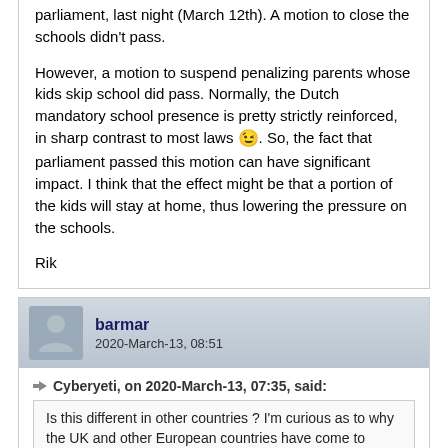parliament, last night (March 12th). A motion to close the schools didn't pass.

However, a motion to suspend penalizing parents whose kids skip school did pass. Normally, the Dutch mandatory school presence is pretty strictly reinforced, in sharp contrast to most laws 😉. So, the fact that parliament passed this motion can have significant impact. I think that the effect might be that a portion of the kids will stay at home, thus lowering the pressure on the schools.

Rik
barmar
2020-March-13, 08:51
Cyberyeti, on 2020-March-13, 07:35, said:
Is this different in other countries ? I'm curious as to why the UK and other European countries have come to different conclusions
Last night a radio reporter asked a college president (I think it was University of Virginia) why some colleges took longer to decide to